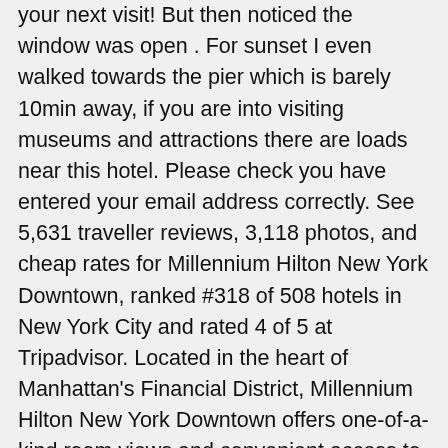your next visit! But then noticed the window was open . For sunset I even walked towards the pier which is barely 10min away, if you are into visiting museums and attractions there are loads near this hotel. Please check you have entered your email address correctly. See 5,631 traveller reviews, 3,118 photos, and cheap rates for Millennium Hilton New York Downtown, ranked #318 of 508 hotels in New York City and rated 4 of 5 at Tripadvisor. Located in the heart of Manhattan's Financial District, Millennium Hilton New York Downtown offers one-of-a-kind room views and convenient access to popular attractions like the Oculus, 9/11 Memorial & Museum, One World Trade Center, Wall Street and more. After a long tiring day for a adventure junkie like me coming back and crashing on the bed and falling asleep immediately was the best thing especially since I suffer from insomnia. Does Millennium Hilton New York Downtown offer any business services? We regret that your time with us was anything less than perfect and that our team didn't go above and beyond to be of assistance. See 5,648 traveller reviews, 3,145 candid photos, and great deals for Millennium Hilton New York Downtown, ranked #330 of